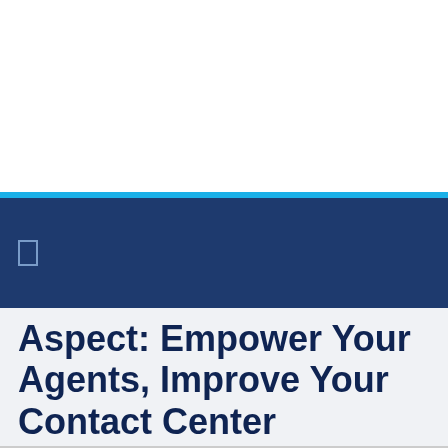[Figure (other): White top section of a presentation slide]
[Figure (other): Thin cyan horizontal stripe separating white area from navy bar]
[Figure (other): Dark navy blue navigation/header bar with a small rectangular icon on the left]
Aspect: Empower Your Agents, Improve Your Contact Center